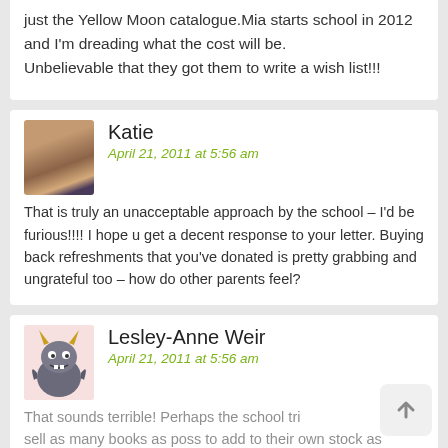just the Yellow Moon catalogue.Mia starts school in 2012 and I'm dreading what the cost will be.
Unbelievable that they got them to write a wish list!!!
Katie
April 21, 2011 at 5:56 am
That is truly an unacceptable approach by the school – I'd be furious!!!! I hope u get a decent response to your letter. Buying back refreshments that you've donated is pretty grabbing and ungrateful too – how do other parents feel?
Lesley-Anne Weir
April 21, 2011 at 5:56 am
That sounds terrible! Perhaps the school tries to sell as many books as poss to add to their own stock as Scholastic give a generous percentage of sales in books to